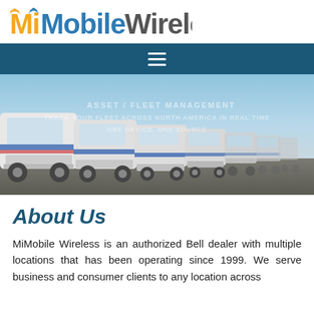[Figure (logo): MiMobile Wireless logo with orange 'Mi', blue 'Mobile', and gray 'Wireless' text, with wifi signal icons above 'i' letters]
[Figure (other): Navigation bar with dark teal/blue background and hamburger menu icon (three horizontal lines) centered]
[Figure (photo): Row of white semi-trucks with blue and red accents lined up in perspective on a paved lot under a blue sky. Overlay text reads 'ASSET / FLEET MANAGEMENT', 'TRACK YOUR FLEET ACROSS NORTH AMERICA IN REAL TIME', 'ONE DEVICE, ONE SOURCE']
About Us
MiMobile Wireless is an authorized Bell dealer with multiple locations that has been operating since 1999. We serve business and consumer clients to any location across